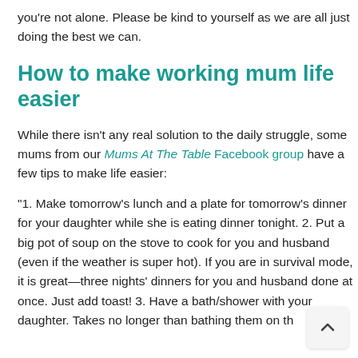you're not alone. Please be kind to yourself as we are all just doing the best we can.
How to make working mum life easier
While there isn't any real solution to the daily struggle, some mums from our Mums At The Table Facebook group have a few tips to make life easier:
“1. Make tomorrow’s lunch and a plate for tomorrow’s dinner for your daughter while she is eating dinner tonight. 2. Put a big pot of soup on the stove to cook for you and husband (even if the weather is super hot). If you are in survival mode, it is great—three nights’ dinners for you and husband done at once. Just add toast! 3. Have a bath/shower with your daughter. Takes no longer than bathing them on their own.”—Heidi